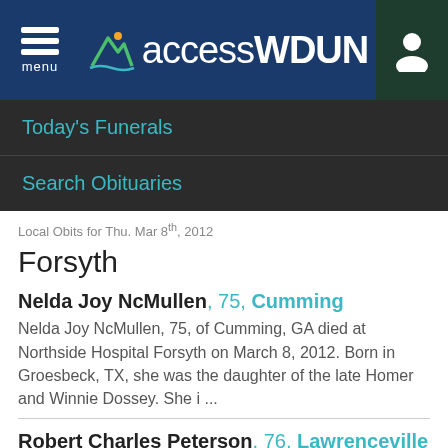accessWDUN
Today's Funerals
Search Obituaries
Local Obits for Thu. Mar 8th, 2012
Forsyth
Nelda Joy NcMullen, 75, Cumming
Nelda Joy NcMullen, 75, of Cumming, GA died at Northside Hospital Forsyth on March 8, 2012. Born in Groesbeck, TX, she was the daughter of the late Homer and Winnie Dossey. She i ...
Robert Charles Peterson, 76, Lawrenceville
Robert Charles Peterson, 76, of Lawrenceville, Georgia passed away on Thursday, March 8th, 2012. He was a veteran of the United States Air Force. Memorial Service arrangements are ...